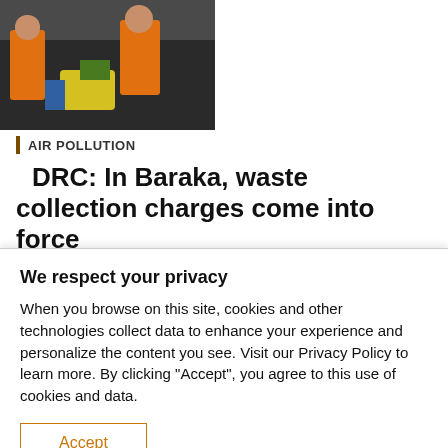[Figure (photo): Workers in orange high-visibility vests handling waste/garbage bags near a truck]
AIR POLLUTION
DRC: In Baraka, waste collection charges come into force
[Figure (photo): Outdoor scene with people and sparse trees in a dry landscape]
We respect your privacy
When you browse on this site, cookies and other technologies collect data to enhance your experience and personalize the content you see. Visit our Privacy Policy to learn more. By clicking "Accept", you agree to this use of cookies and data.
Accept